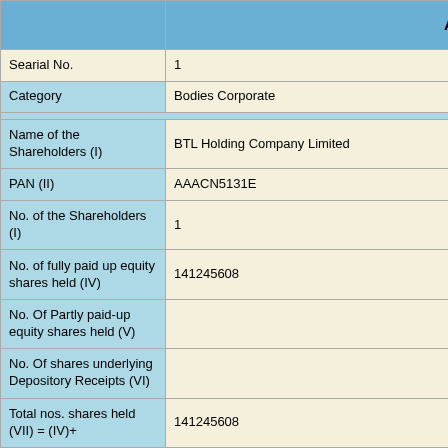|  | 1 | 2 |
| --- | --- | --- |
| Searial No. | 1 | 2 |
| Category | Bodies Corporate | Bodies Corporate |
| Name of the Shareholders (I) | BTL Holding Company Limited | Madh... |
| PAN (II) | AAACN5131E | AAD... |
| No. of the Shareholders (I) | 1 | 1 |
| No. of fully paid up equity shares held (IV) | 141245608 | 57307... |
| No. Of Partly paid-up equity shares held (V) |  |  |
| No. Of shares underlying Depository Receipts (VI) |  |  |
| Total nos. shares held (VII) = (IV)+ | 141245608 | 57307... |